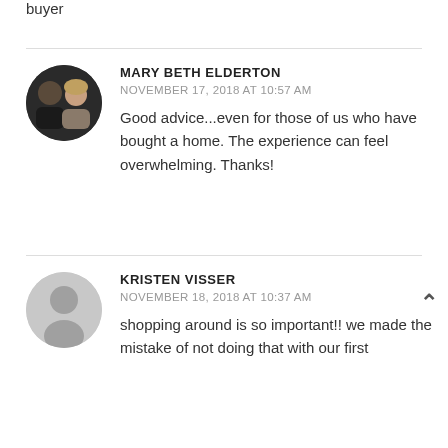buyer
MARY BETH ELDERTON
NOVEMBER 17, 2018 AT 10:57 AM
Good advice...even for those of us who have bought a home. The experience can feel overwhelming. Thanks!
KRISTEN VISSER
NOVEMBER 18, 2018 AT 10:37 AM
shopping around is so important!! we made the mistake of not doing that with our first